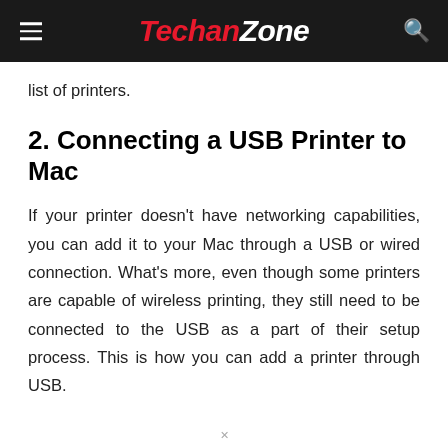TechanZone
list of printers.
2. Connecting a USB Printer to Mac
If your printer doesn't have networking capabilities, you can add it to your Mac through a USB or wired connection. What's more, even though some printers are capable of wireless printing, they still need to be connected to the USB as a part of their setup process. This is how you can add a printer through USB.